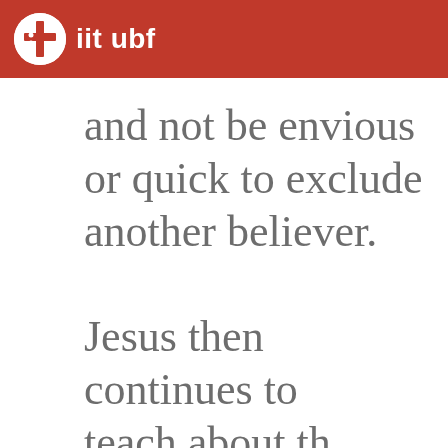iit ubf
and not be envious or quick to exclude another believer.

Jesus then continues to teach about the